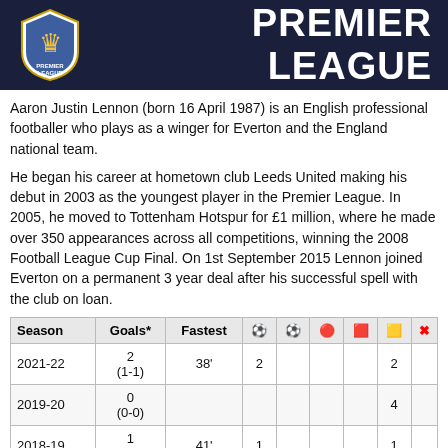PREMIER LEAGUE
Aaron Justin Lennon (born 16 April 1987) is an English professional footballer who plays as a winger for Everton and the England national team.
He began his career at hometown club Leeds United making his debut in 2003 as the youngest player in the Premier League. In 2005, he moved to Tottenham Hotspur for £1 million, where he made over 350 appearances across all competitions, winning the 2008 Football League Cup Final. On 1st September 2015 Lennon joined Everton on a permanent 3 year deal after his successful spell with the club on loan.
| Season | Goals* | Fastest | ⚽ | ⚽ | 🔴 | 🟥 | 🟨 | ❌ |
| --- | --- | --- | --- | --- | --- | --- | --- | --- |
| 2021-22 | 2
(1-1) | 38' | 2 |  |  |  | 2 |  |
| 2019-20 | 0
(0-0) |  |  |  |  |  | 4 |  |
| 2018-19 | 1
(1-0) | 41' | 1 |  |  |  | 1 |  |
| 2015-16 | 5
(4-1) | 22' | 5 |  |  |  |  |  |
| 2014-15 | 2 | 41' | 2 |  |  |  |  |  |